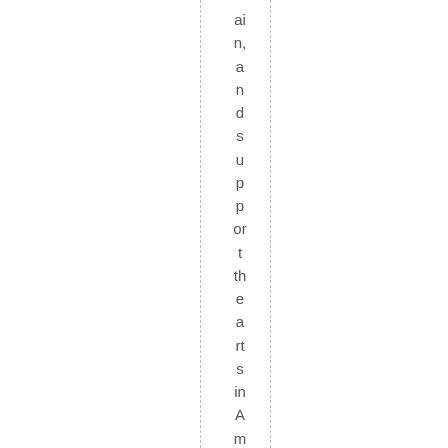ain, and support the arts in America. Fo